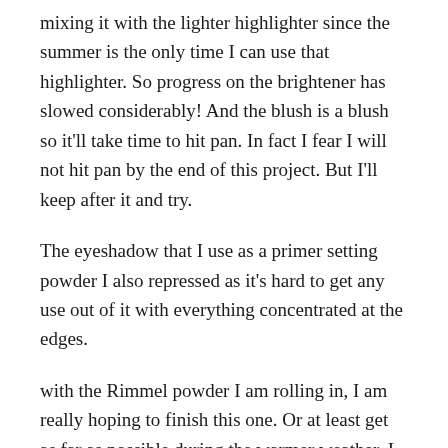mixing it with the lighter highlighter since the summer is the only time I can use that highlighter. So progress on the brightener has slowed considerably! And the blush is a blush so it'll take time to hit pan. In fact I fear I will not hit pan by the end of this project. But I'll keep after it and try.
The eyeshadow that I use as a primer setting powder I also repressed as it's hard to get any use out of it with everything concentrated at the edges.
with the Rimmel powder I am rolling in, I am really hoping to finish this one. Or at least get as far as possible during the warmer weather. I am concentrating my brush on the outsides of this one as I want to wear away the edges that are still quite full.